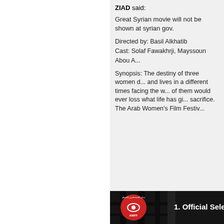ZIAD said:
Great Syrian movie will not be shown at syrian gov.
Directed by: Basil Alkhatib
Cast: Solaf Fawakhrji, Mayssoun Abou ...
Synopsis: The destiny of three women and lives in a different times facing the world, of them would ever loss what life has given sacrifice. The Arab Women's Film Festival...
[Figure (screenshot): Dark movie still with AWFF (Arab Women's Film Festival) red logo on left and text '1. Official Selection A...' on right. The background shows dark iron fence/gate.]